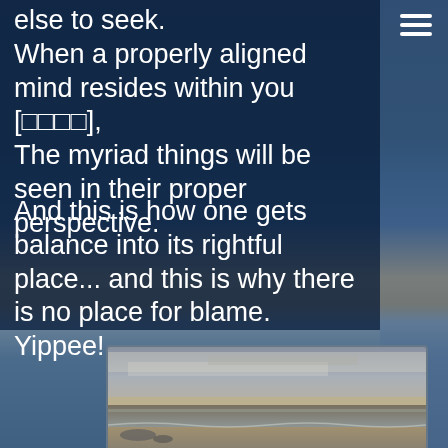else to seek.
When a properly aligned mind resides within you [□□□□],
The myriad things will be seen in their proper perspective.
And this is how one gets balance into its rightful place... and this is why there is no place for blame. Yippee!
[Figure (photo): A coastal beach scene photograph showing overcast sky with clouds, calm sea water, and a pebbly shoreline at dusk or dawn.]